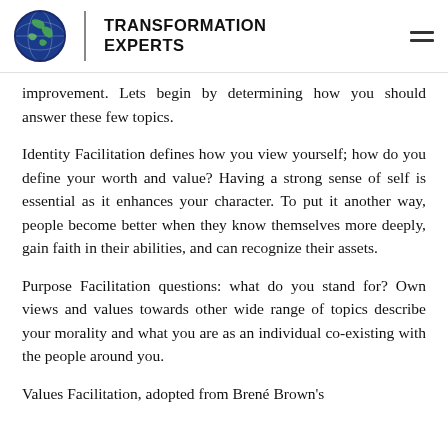TRANSFORMATION EXPERTS
improvement. Lets begin by determining how you should answer these few topics.
Identity Facilitation defines how you view yourself; how do you define your worth and value? Having a strong sense of self is essential as it enhances your character. To put it another way, people become better when they know themselves more deeply, gain faith in their abilities, and can recognize their assets.
Purpose Facilitation questions: what do you stand for? Own views and values towards other wide range of topics describe your morality and what you are as an individual co-existing with the people around you.
Values Facilitation, adopted from Brené Brown's